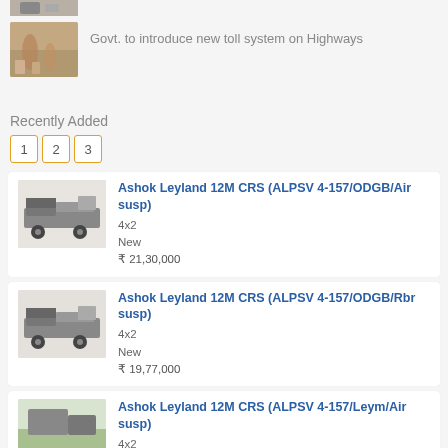[Figure (photo): Small thumbnail photo at top (partially visible)]
[Figure (photo): Thumbnail photo of road/highway infrastructure]
Govt. to introduce new toll system on Highways
Recently Added
1  2  3
[Figure (photo): Ashok Leyland truck chassis photo - listing 1]
Ashok Leyland 12M CRS (ALPSV 4-157/ODGB/Air susp)
4x2
New
₹ 21,30,000
[Figure (photo): Ashok Leyland truck chassis photo - listing 2]
Ashok Leyland 12M CRS (ALPSV 4-157/ODGB/Rbr susp)
4x2
New
₹ 19,77,000
[Figure (photo): Ashok Leyland truck photo on road - listing 3]
Ashok Leyland 12M CRS (ALPSV 4-157/Leym/Air susp)
4x2
New